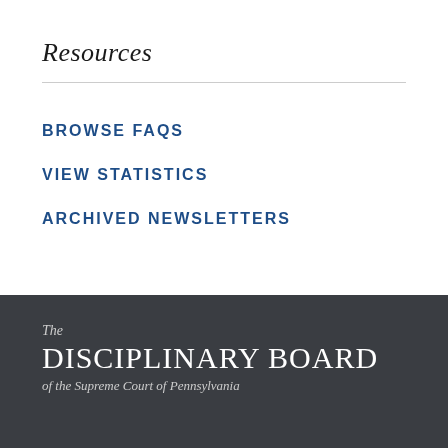Resources
BROWSE FAQS
VIEW STATISTICS
ARCHIVED NEWSLETTERS
The DISCIPLINARY BOARD of the Supreme Court of Pennsylvania